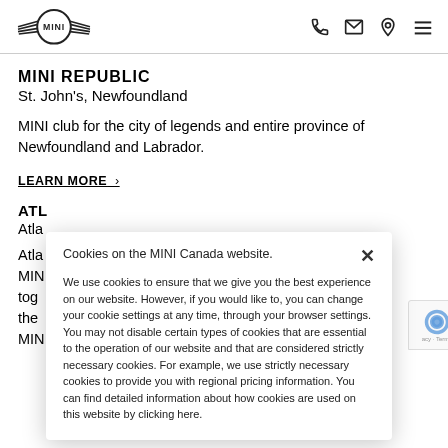MINI logo header with phone, email, location, and menu icons
MINI REPUBLIC
St. John's, Newfoundland
MINI club for the city of legends and entire province of Newfoundland and Labrador.
LEARN MORE >
ATL...
Atla...
Atla... MINI ... toge... the... MINI...
Cookies on the MINI Canada website.

We use cookies to ensure that we give you the best experience on our website. However, if you would like to, you can change your cookie settings at any time, through your browser settings. You may not disable certain types of cookies that are essential to the operation of our website and that are considered strictly necessary cookies. For example, we use strictly necessary cookies to provide you with regional pricing information. You can find detailed information about how cookies are used on this website by clicking here.